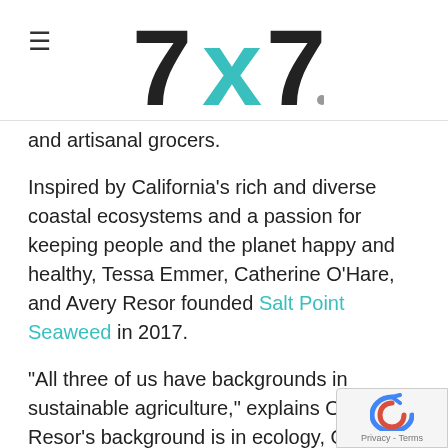7x7 logo with hamburger menu
and artisanal grocers.
Inspired by California's rich and diverse coastal ecosystems and a passion for keeping people and the planet happy and healthy, Tessa Emmer, Catherine O'Hare, and Avery Resor founded Salt Point Seaweed in 2017.
"All three of us have backgrounds in sustainable agriculture," explains O'Hare—Resor's background is in ecology, O'Hare's in farms, and Emmer's in supply chains agriculture; all are interested in the intersection of food, health, and global systems.
The women had seen open-ocean seaweed fa... done in other places, and started asking thems... if they could do it here. They've started a small pilot